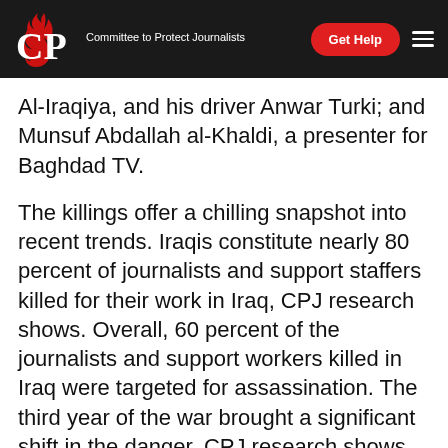CPJ — Committee to Protect Journalists | Get Help
Al-Iraqiya, and his driver Anwar Turki; and Munsuf Abdallah al-Khaldi, a presenter for Baghdad TV.
The killings offer a chilling snapshot into recent trends. Iraqis constitute nearly 80 percent of journalists and support staffers killed for their work in Iraq, CPJ research shows. Overall, 60 percent of the journalists and support workers killed in Iraq were targeted for assassination. The third year of the war brought a significant shift in the danger, CPJ research shows, after two years in which crossfire had been a more frequent cause of media deaths.